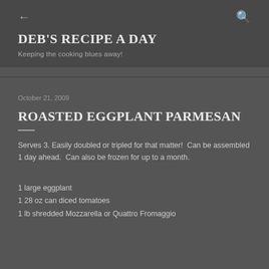DEB'S RECIPE A DAY
Keeping the cooking blues away!
October 21, 2009
ROASTED EGGPLANT PARMESAN
Serves 3. Easily doubled or tripled for that matter!  Can be assembled 1 day ahead.  Can also be frozen for up to a month.
1 large eggplant
1 28 oz can diced tomatoes
1 lb shredded Mozzarella or Quattro Fromaggio